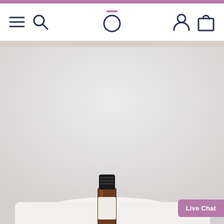Navigation bar with menu, search, logo, user, and cart icons
[Figure (screenshot): Product photo showing a small amber/dark glass essential oil bottle on a white cloth, photographed against a light grey background. The image is partially visible at the bottom of the page.]
Live Chat